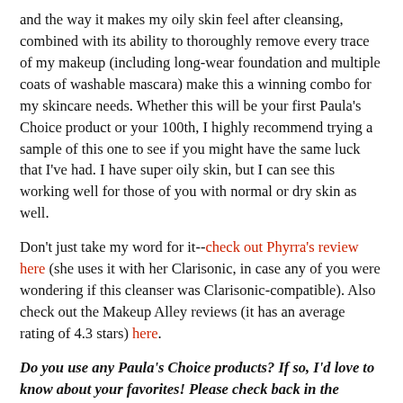and the way it makes my oily skin feel after cleansing, combined with its ability to thoroughly remove every trace of my makeup (including long-wear foundation and multiple coats of washable mascara) make this a winning combo for my skincare needs. Whether this will be your first Paula's Choice product or your 100th, I highly recommend trying a sample of this one to see if you might have the same luck that I've had. I have super oily skin, but I can see this working well for those of you with normal or dry skin as well.
Don't just take my word for it--check out Phyrra's review here (she uses it with her Clarisonic, in case any of you were wondering if this cleanser was Clarisonic-compatible). Also check out the Makeup Alley reviews (it has an average rating of 4.3 stars) here.
Do you use any Paula's Choice products? If so, I'd love to know about your favorites! Please check back in the coming weeks for more Paula's Choice reviews, as I work my way through the products I was sent for review.